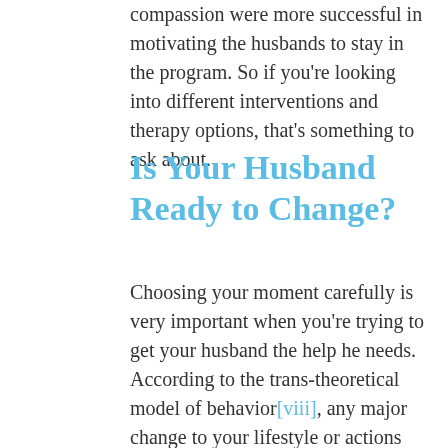compassion were more successful in motivating the husbands to stay in the program. So if you're looking into different interventions and therapy options, that's something to ask about.
Is Your Husband Ready to Change?
Choosing your moment carefully is very important when you're trying to get your husband the help he needs. According to the trans-theoretical model of behavior[viii], any major change to your lifestyle or actions happens in a cycle of five stages. For an abusive husband it would look like this: